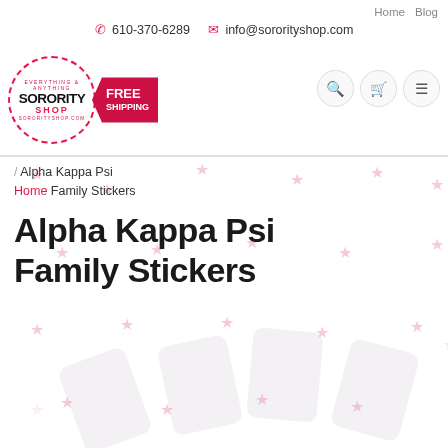Home  Blog
610-370-6289  info@sororityshop.com
[Figure (logo): Sorority Shop circular logo with pink dashed border and FREE SHIPPING tag]
[Figure (other): Navigation icons: search, cart, menu]
/ Alpha Kappa Psi
Home Family Stickers
Alpha Kappa Psi Family Stickers
[Figure (illustration): Pink star pattern background with faint sticker card shapes at bottom]